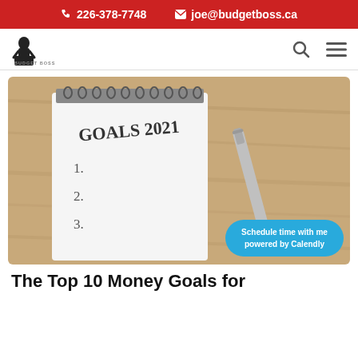📞 226-378-7748  ✉ joe@budgetboss.ca
[Figure (logo): Budget Boss logo with silhouette of businessman]
[Figure (photo): A notepad with 'GOALS 2021' written at top and numbered lines 1, 2, 3, with a pen on a wooden desk background. A 'Schedule time with me powered by Calendly' button overlaid at bottom right.]
The Top 10 Money Goals for